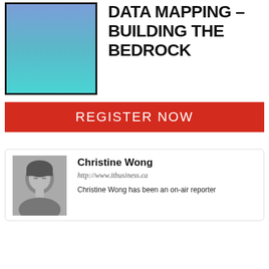[Figure (illustration): Square box with blue-to-teal gradient fill and black border]
DATA MAPPING – BUILDING THE BEDROCK
REGISTER NOW
[Figure (photo): Black and white profile photo of Christine Wong]
Christine Wong
http://www.itbusiness.ca
Christine Wong has been an on-air reporter